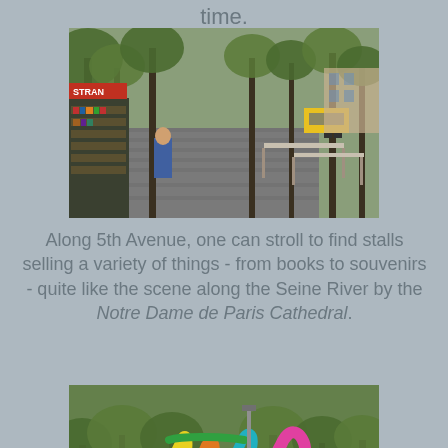time.
[Figure (photo): Outdoor market stalls along a tree-lined urban pedestrian path (5th Avenue), with book stalls and vendors visible on the left, tables on the right, and parked yellow taxis in the background.]
Along 5th Avenue, one can stroll to find stalls selling a variety of things - from books to souvenirs - quite like the scene along the Seine River by the Notre Dame de Paris Cathedral.
[Figure (photo): Colorful abstract ribbon/loop sculptures (yellow, orange, blue, pink) in a park setting with trees in the background.]